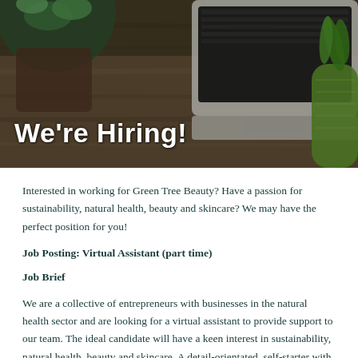[Figure (photo): Flat lay photo of a laptop, potted plants, and a pineapple on a wooden surface, with 'We're Hiring!' overlaid in white bold text at the bottom left.]
Interested in working for Green Tree Beauty? Have a passion for sustainability, natural health, beauty and skincare? We may have the perfect position for you!
Job Posting: Virtual Assistant (part time)
Job Brief
We are a collective of entrepreneurs with businesses in the natural health sector and are looking for a virtual assistant to provide support to our team. The ideal candidate will have a keen interest in sustainability, natural health, beauty and skincare. A detail-orientated, self-starter with excellent